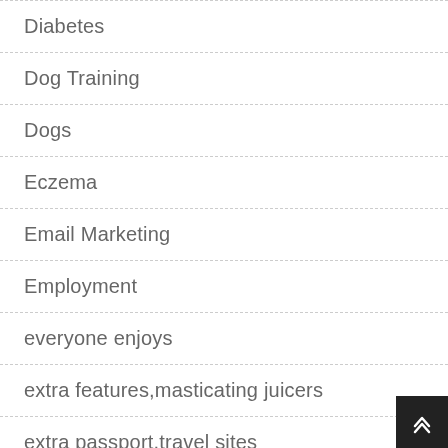Diabetes
Dog Training
Dogs
Eczema
Email Marketing
Employment
everyone enjoys
extra features,masticating juicers
extra passport,travel sites
Eye Care